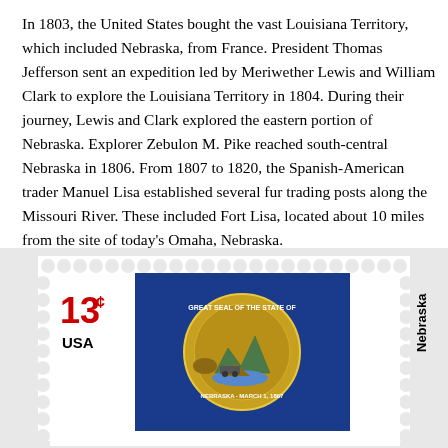In 1803, the United States bought the vast Louisiana Territory, which included Nebraska, from France. President Thomas Jefferson sent an expedition led by Meriwether Lewis and William Clark to explore the Louisiana Territory in 1804. During their journey, Lewis and Clark explored the eastern portion of Nebraska. Explorer Zebulon M. Pike reached south-central Nebraska in 1806. From 1807 to 1820, the Spanish-American trader Manuel Lisa established several fur trading posts along the Missouri River. These included Fort Lisa, located about 10 miles from the site of today's Omaha, Nebraska.
[Figure (illustration): A US postage stamp showing the Nebraska state flag on a blue background with the state seal in gold and yellow. The stamp shows '13¢ USA' on the left side and 'Nebraska' printed vertically on the right side. The stamp has perforated edges.]